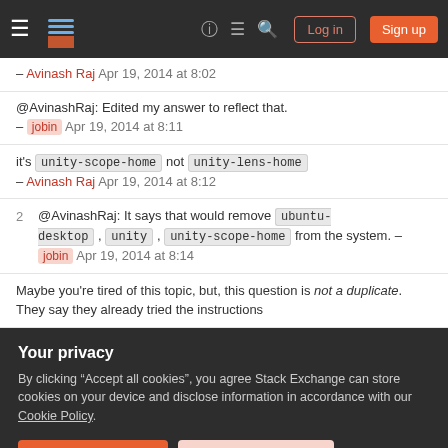Stack Exchange navigation bar with Log in and Sign up buttons
– Avinash Raj Apr 19, 2014 at 8:02
@AvinashRaj: Edited my answer to reflect that. – jobin Apr 19, 2014 at 8:11
it's unity-scope-home not unity-lens-home – Avinash Raj Apr 19, 2014 at 8:12
2  @AvinashRaj: It says that would remove ubuntu-desktop, unity, unity-scope-home from the system. – jobin Apr 19, 2014 at 8:14
Maybe you're tired of this topic, but, this question is not a duplicate. They say they already tried the instructions
Your privacy
By clicking "Accept all cookies", you agree Stack Exchange can store cookies on your device and disclose information in accordance with our Cookie Policy.
Accept all cookies   Customize settings
2 Answers